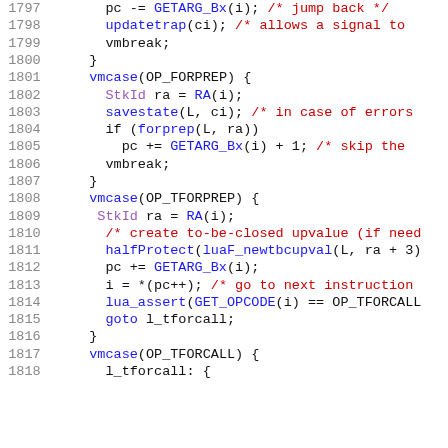[Figure (screenshot): Source code listing in C showing lines 1797-1818 of a Lua VM implementation, with line numbers on the left and syntax-highlighted code on the right. Keywords and identifiers are shown in black, function calls in blue, type names in purple, and comments in red.]